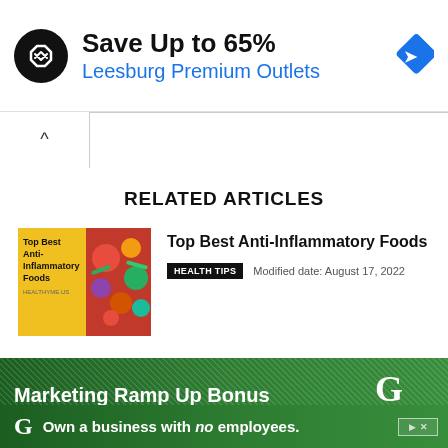[Figure (screenshot): Advertisement banner: black circle logo with double arrow icon, text 'Save Up to 65% Leesburg Premium Outlets', blue diamond navigation icon on right]
[Figure (screenshot): Collapsed content bar with up-arrow toggle button]
RELATED ARTICLES
[Figure (screenshot): Thumbnail image for article about Top Best Anti-Inflammatory Foods: yellow background with text on left, colorful food photo on right]
Top Best Anti-Inflammatory Foods
HEALTH TIPS   Modified date: August 17, 2022
[Figure (screenshot): Advertisement banner for The Growth Coach: green background, 'Marketing Ramp Up Bonus' title, 'Launch your franchise today!' subtitle, Growth Coach logo on right]
[Figure (screenshot): Second advertisement strip for The Growth Coach: green background, G logo, 'Own a business with no employees.']